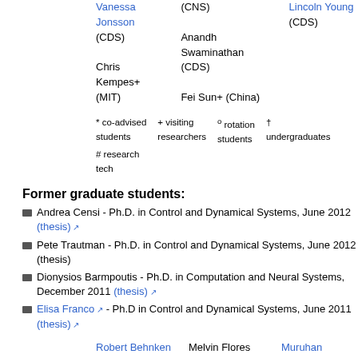Vanessa Jonsson (CDS)
(CNS)
Anandh Swaminathan (CDS)
Fei Sun+ (China)
Lincoln Young (CDS)
Chris Kempes+ (MIT)
* co-advised students   + visiting researchers   ° rotation students   † undergraduates   # research tech
Former graduate students:
Andrea Censi - Ph.D. in Control and Dynamical Systems, June 2012 (thesis)
Pete Trautman - Ph.D. in Control and Dynamical Systems, June 2012 (thesis)
Dionysios Barmpoutis - Ph.D. in Computation and Neural Systems, December 2011 (thesis)
Elisa Franco - Ph.D in Control and Dynamical Systems, June 2011 (thesis)
Robert Behnken (thesis)
Melvin Flores (thesis)
Muruhan Rathinam (thesis)
Julia Badger (Braman)
Jimmy Fung (thesis)
Clancy Rowley